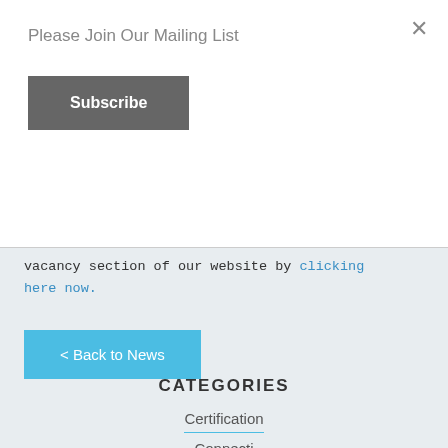Please Join Our Mailing List
Subscribe
vacancy section of our website by clicking here now.
< Back to News
CATEGORIES
Certification
Connectivity